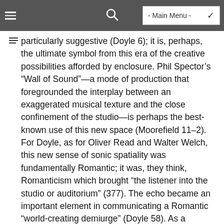- Main Menu -
particularly suggestive (Doyle 6); it is, perhaps, the ultimate symbol from this era of the creative possibilities afforded by enclosure. Phil Spector's “Wall of Sound”—a mode of production that foregrounded the interplay between an exaggerated musical texture and the close confinement of the studio—is perhaps the best-known use of this new space (Moorefield 11–2). For Doyle, as for Oliver Read and Walter Welch, this new sense of sonic spatiality was fundamentally Romantic; it was, they think, Romanticism which brought “the listener into the studio or auditorium” (377). The echo became an important element in communicating a Romantic “world-creating demiurge” (Doyle 58). As a phenomenon entirely dependent on containment, the echo was particularly suggestive of a “sublime dreamed world” conjured by the artist (Doyle 5).